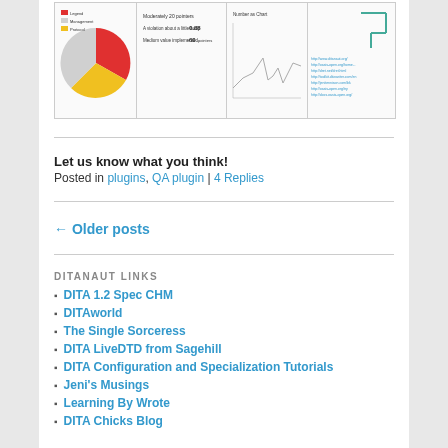[Figure (screenshot): Screenshot collage showing three document panels: a pie chart panel on the left with legend, a stats/text panel in the middle, and a line chart panel and a flowchart/links panel on the right.]
Let us know what you think!
Posted in plugins, QA plugin | 4 Replies
← Older posts
DITANAUT LINKS
DITA 1.2 Spec CHM
DITAworld
The Single Sorceress
DITA LiveDTD from Sagehill
DITA Configuration and Specialization Tutorials
Jeni's Musings
Learning By Wrote
DITA Chicks Blog